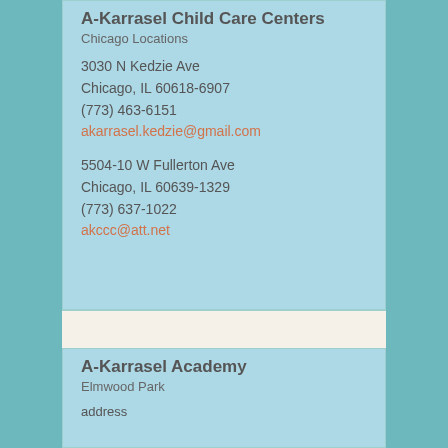A-Karrasel Child Care Centers
Chicago Locations
3030 N Kedzie Ave
Chicago, IL 60618-6907
(773) 463-6151
akarrasel.kedzie@gmail.com
5504-10 W Fullerton Ave
Chicago, IL 60639-1329
(773) 637-1022
akccc@att.net
A-Karrasel Academy
Elmwood Park
address